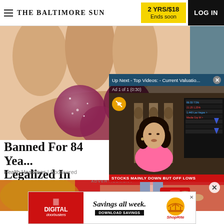THE BALTIMORE SUN | 2 YRS/$18 Ends soon | LOG IN
[Figure (photo): Close-up photo of sugary gummy candies held in a hand]
[Figure (screenshot): Video overlay showing news anchor woman in pink top with text 'Up Next - Top Videos: - Current Valuatio...' and ticker 'STOCKS MAINLY DOWN BUT OFF LOWS', Ad 1 of 1 (0:30)]
Banned For 84 Yea... Legalized In Virgin...
Health Headlines | Sponsored
[Figure (photo): Banner advertisement strip showing hands and red background]
ADVERTISEMENT
[Figure (screenshot): ShopRite Digital Doorbusters advertisement: 'Savings all week. DOWNLOAD SAVINGS']